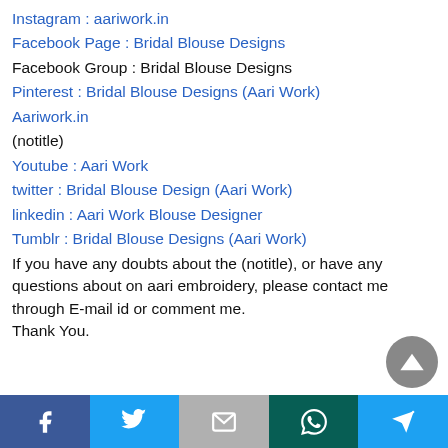Instagram : aariwork.in
Facebook Page : Bridal Blouse Designs
Facebook Group : Bridal Blouse Designs
Pinterest : Bridal Blouse Designs (Aari Work)
Aariwork.in
(notitle)
Youtube : Aari Work
twitter : Bridal Blouse Design (Aari Work)
linkedin : Aari Work Blouse Designer
Tumblr : Bridal Blouse Designs (Aari Work)
If you have any doubts about the (notitle), or have any questions about on aari embroidery, please contact me through E-mail id or comment me. Thank You.